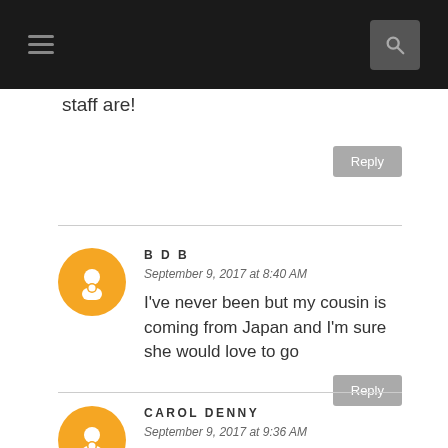Navigation header with menu and search icons
staff are!
Reply
BDB
September 9, 2017 at 8:40 AM
I've never been but my cousin is coming from Japan and I'm sure she would love to go
Reply
CAROL DENNY
September 9, 2017 at 9:36 AM